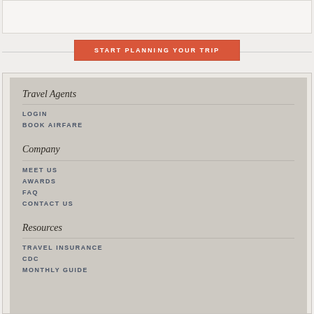[Figure (screenshot): Top white bar element - partial webpage header]
START PLANNING YOUR TRIP
Travel Agents
LOGIN
BOOK AIRFARE
Company
MEET US
AWARDS
FAQ
CONTACT US
Resources
TRAVEL INSURANCE
CDC
MONTHLY GUIDE